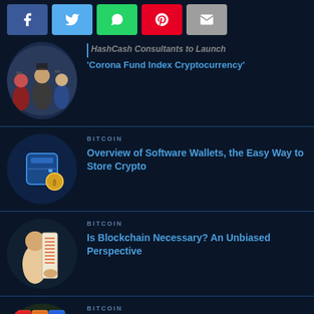[Figure (other): Social media share buttons: Facebook (blue), Twitter (light blue), WhatsApp (green), Pinterest (red), Email (gray)]
[Figure (photo): Circular illustration: people at an event, crowd scene with raised hands]
HashCash Consultants to Launch 'Corona Fund Index Cryptocurrency'
BITCOIN
[Figure (illustration): Circular illustration: digital wallet concept in blue tones with gold coins]
Overview of Software Wallets, the Easy Way to Store Crypto
BITCOIN
[Figure (illustration): Circular illustration: person examining a long paper/scroll with data]
Is Blockchain Necessary? An Unbiased Perspective
BITCOIN
[Figure (illustration): Circular illustration: colorful block/tile game pattern (partially visible)]
Proof of Stake Vs. Proof of Work: Which One Is 'Fairer'?